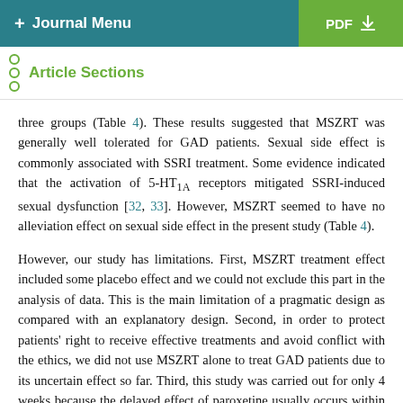+ Journal Menu | PDF
Article Sections
three groups (Table 4). These results suggested that MSZRT was generally well tolerated for GAD patients. Sexual side effect is commonly associated with SSRI treatment. Some evidence indicated that the activation of 5-HT1A receptors mitigated SSRI-induced sexual dysfunction [32, 33]. However, MSZRT seemed to have no alleviation effect on sexual side effect in the present study (Table 4).
However, our study has limitations. First, MSZRT treatment effect included some placebo effect and we could not exclude this part in the analysis of data. This is the main limitation of a pragmatic design as compared with an explanatory design. Second, in order to protect patients' right to receive effective treatments and avoid conflict with the ethics, we did not use MSZRT alone to treat GAD patients due to its uncertain effect so far. Third, this study was carried out for only 4 weeks because the delayed effect of paroxetine usually occurs within 4 weeks and if paroxetine still did not work after 4 weeks' medication,